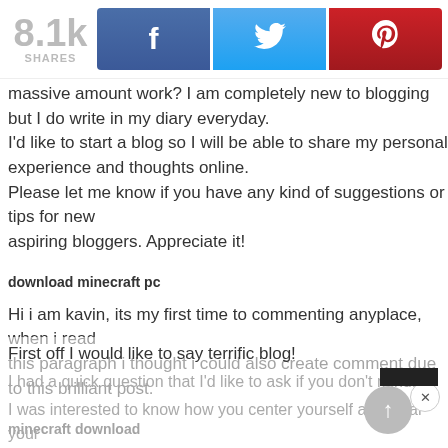[Figure (infographic): Share bar showing 8.1k shares with Facebook, Twitter, and Pinterest buttons]
massive amount work? I am completely new to blogging but I do write in my diary everyday.
I'd like to start a blog so I will be able to share my personal experience and thoughts online.
Please let me know if you have any kind of suggestions or tips for new aspiring bloggers. Appreciate it!
download minecraft pc
Hi i am kavin, its my first time to commenting anyplace, when i read this paragraph i thought i could also create comment due to this brilliant post.
minecraft download
First off I would like to say terrific blog!
I had a quick question that I'd like to ask if you don't mind.
I was interested to know how you center yourself and clear your